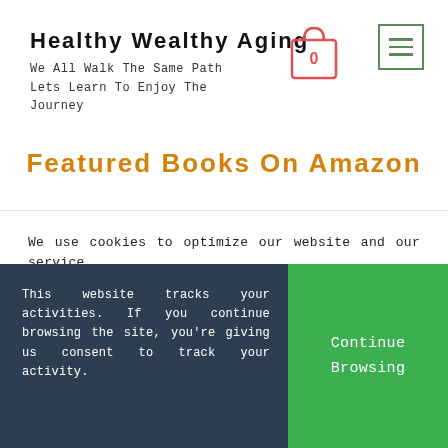Healthy Wealthy Aging
We All Walk The Same Path Lets Learn To Enjoy The Journey
Featured Books On Amazon
We use cookies to optimize our website and our service.
ACCEPT
DENY
This website tracks your activities. If you continue browsing the site, you're giving us consent to track your activity.
Continue Browsing